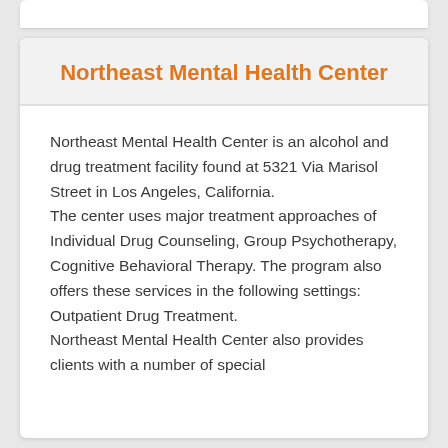Northeast Mental Health Center
Northeast Mental Health Center is an alcohol and drug treatment facility found at 5321 Via Marisol Street in Los Angeles, California.
The center uses major treatment approaches of Individual Drug Counseling, Group Psychotherapy, Cognitive Behavioral Therapy. The program also offers these services in the following settings: Outpatient Drug Treatment.
Northeast Mental Health Center also provides clients with a number of special